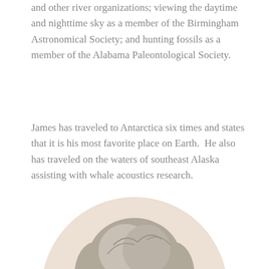and other river organizations; viewing the daytime and nighttime sky as a member of the Birmingham Astronomical Society; and hunting fossils as a member of the Alabama Paleontological Society.
James has traveled to Antarctica six times and states that it is his most favorite place on Earth. He also has traveled on the waters of southeast Alaska assisting with whale acoustics research.
[Figure (photo): Circular cropped portrait photo of a person with short gray hair, viewed from roughly mid-forehead to chin level, against a light beige/cream background.]